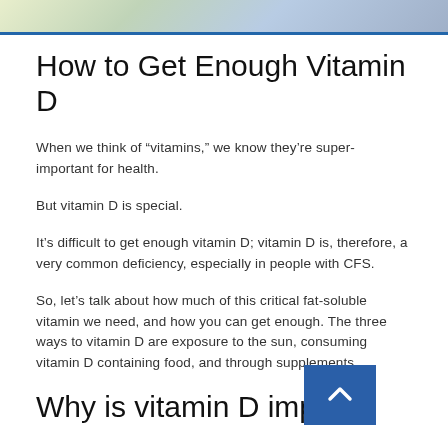[Figure (photo): Partial banner image with colorful background, cut off at top of page]
How to Get Enough Vitamin D
When we think of “vitamins,” we know they’re super-important for health.
But vitamin D is special.
It’s difficult to get enough vitamin D; vitamin D is, therefore, a very common deficiency, especially in people with CFS.
So, let’s talk about how much of this critical fat-soluble vitamin we need, and how you can get enough. The three ways to vitamin D are exposure to the sun, consuming vitamin D containing food, and through supplements.
Why is vitamin D import…